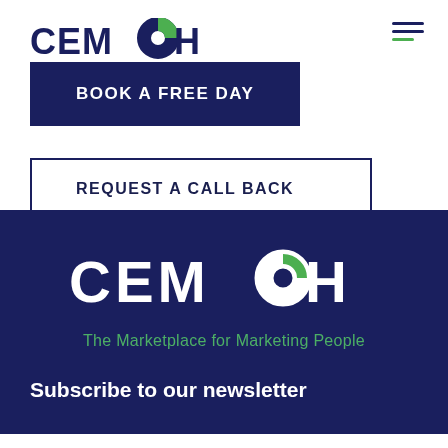[Figure (logo): CEMOH logo with circular icon, dark navy text, top left of white section]
[Figure (other): Hamburger menu icon with two navy lines and one green line, top right]
BOOK A FREE DAY
REQUEST A CALL BACK
[Figure (logo): CEMOH logo large white text with circular icon on dark navy background]
The Marketplace for Marketing People
Subscribe to our newsletter